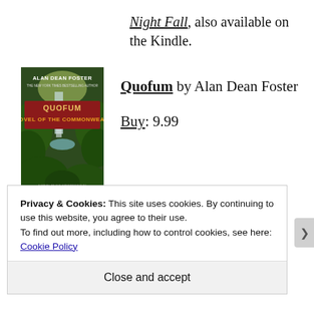Night Fall, also available on the Kindle.
[Figure (photo): Book cover of Quofum by Alan Dean Foster, showing a jungle/waterfall scene with red title text and green foliage.]
Quofum by Alan Dean Foster
Buy: 9.99
Part of the Humanx
Privacy & Cookies: This site uses cookies. By continuing to use this website, you agree to their use.
To find out more, including how to control cookies, see here: Cookie Policy
Close and accept